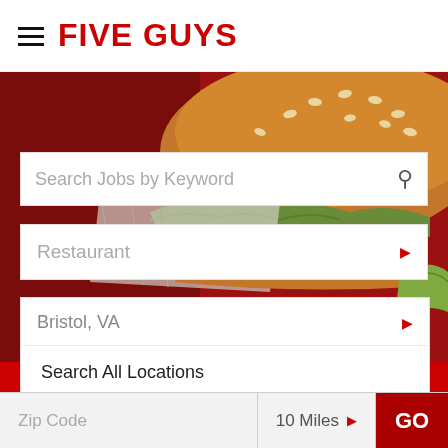FIVE GUYS
[Figure (photo): Close-up photo of a Five Guys burger with sesame seed bun, lettuce, tomato, on a red background]
Search Jobs by Keyword
Restaurant
Bristol, VA
Search All Locations
Virginia Jobs
Bristol, VA Jobs
Zip Code
10 Miles
GO